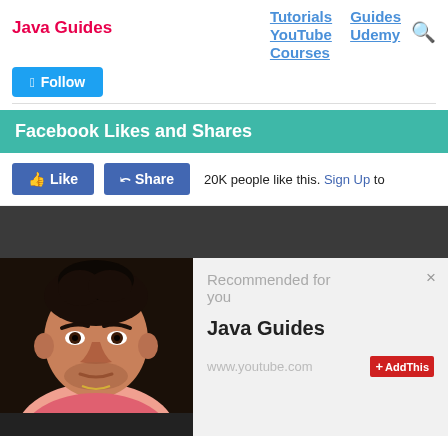Java Guides
Tutorials  Guides  YouTube  Udemy  Courses
[Figure (screenshot): Twitter Follow button (blue)]
Facebook Likes and Shares
[Figure (screenshot): Facebook Like and Share buttons with '20K people like this. Sign Up to' text]
[Figure (screenshot): Dark banner section and YouTube recommendation card showing a man's profile photo, 'Recommended for you', 'Java Guides', 'www.youtube.com', AddThis badge]